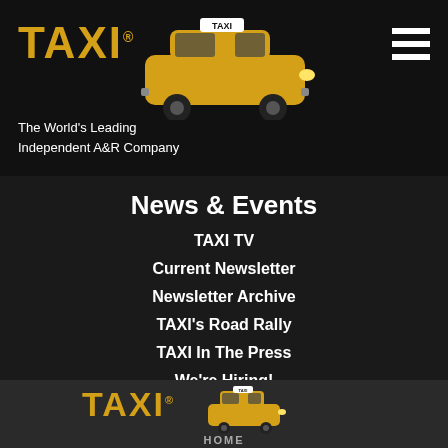TAXI® The World's Leading Independent A&R Company
News & Events
TAXI TV
Current Newsletter
Newsletter Archive
TAXI's Road Rally
TAXI In The Press
We're Hiring!
TAXI® HOME